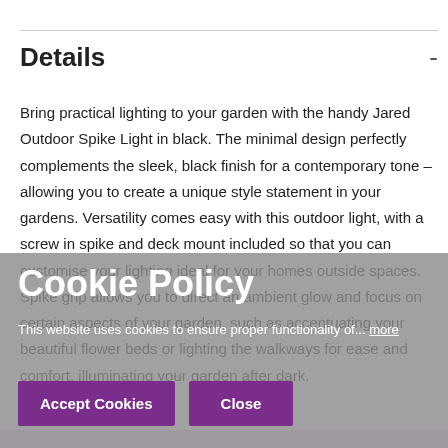Details -
Bring practical lighting to your garden with the handy Jared Outdoor Spike Light in black. The minimal design perfectly complements the sleek, black finish for a contemporary tone – allowing you to create a unique style statement in your gardens. Versatility comes easy with this outdoor light, with a screw in spike and deck mount included so that you can customise your lighting ideal for your homes outside spaces. Spike grip allows you to direct an ambient glow and focus on certain aspects of your garden, such as accentuating your beautiful flower beds or lighting the walkways for ease and comfort, illuminating your garden after dark.
Cookie Policy
This website uses cookies to ensure proper functionality of... more
Accept Cookies   Close